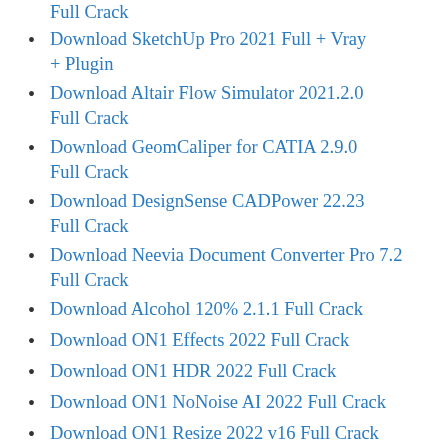Full Crack
Download SketchUp Pro 2021 Full + Vray + Plugin
Download Altair Flow Simulator 2021.2.0 Full Crack
Download GeomCaliper for CATIA 2.9.0 Full Crack
Download DesignSense CADPower 22.23 Full Crack
Download Neevia Document Converter Pro 7.2 Full Crack
Download Alcohol 120% 2.1.1 Full Crack
Download ON1 Effects 2022 Full Crack
Download ON1 HDR 2022 Full Crack
Download ON1 NoNoise AI 2022 Full Crack
Download ON1 Resize 2022 v16 Full Crack